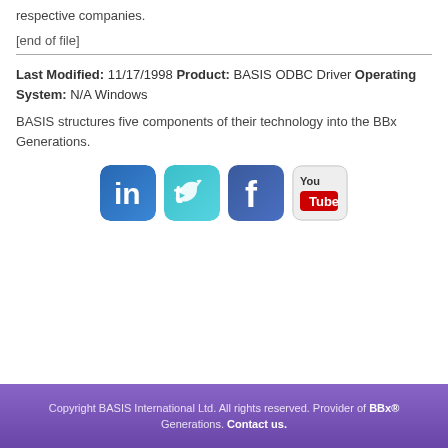respective companies.
[end of file]
Last Modified: 11/17/1998 Product: BASIS ODBC Driver Operating System: N/A Windows
BASIS structures five components of their technology into the BBx Generations.
[Figure (illustration): Four social media icons in a row: LinkedIn, Twitter, Facebook, YouTube]
Copyright BASIS International Ltd. All rights reserved. Provider of BBx® Generations. Contact us.